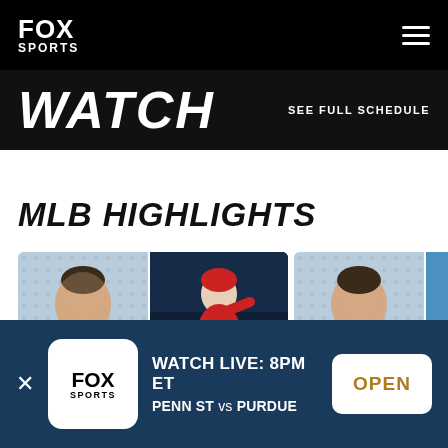FOX SPORTS
WATCH
SEE FULL SCHEDULE
MLB HIGHLIGHTS
[Figure (photo): Two MLB highlight video thumbnails showing a sports presenter and a baseball pitcher in Angels uniform]
WATCH LIVE: 8PM ET PENN ST vs PURDUE OPEN